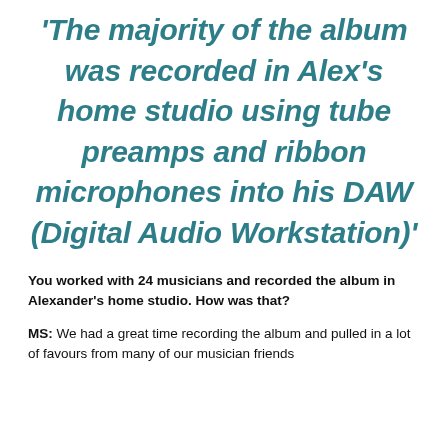'The majority of the album was recorded in Alex's home studio using tube preamps and ribbon microphones into his DAW (Digital Audio Workstation)'
You worked with 24 musicians and recorded the album in Alexander's home studio. How was that?
MS: We had a great time recording the album and pulled in a lot of favours from many of our musician friends